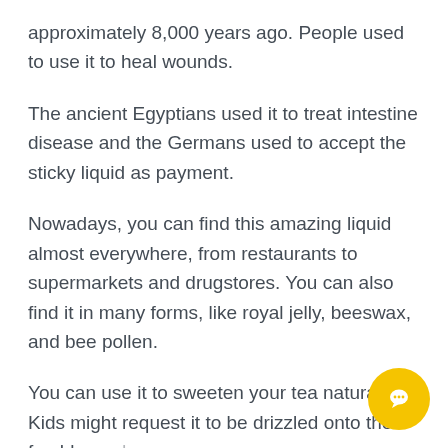approximately 8,000 years ago. People used to use it to heal wounds.
The ancient Egyptians used it to treat intestine disease and the Germans used to accept the sticky liquid as payment.
Nowadays, you can find this amazing liquid almost everywhere, from restaurants to supermarkets and drugstores. You can also find it in many forms, like royal jelly, beeswax, and bee pollen.
You can use it to sweeten your tea naturally. Kids might request it to be drizzled onto their freshly made